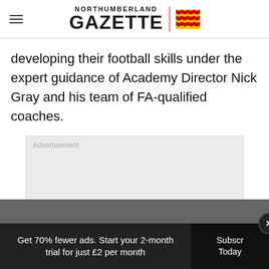Northumberland Gazette
developing their football skills under the expert guidance of Academy Director Nick Gray and his team of FA-qualified coaches.
[Figure (other): Advertisement placeholder box with light gray background and 'Advertisement' label in top-left corner.]
Get 70% fewer ads. Start your 2-month trial for just £2 per month  Subscribe Today